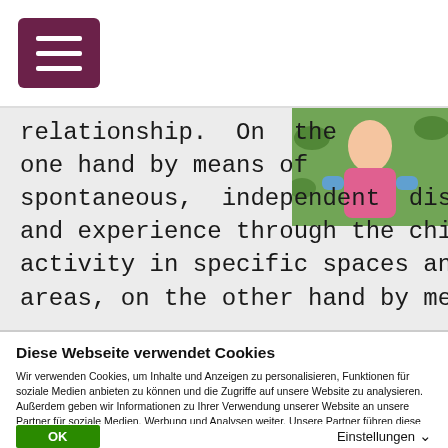[Figure (screenshot): Purple hamburger menu button in top left corner of a website header]
relationship. On the one hand by means of spontaneous, independent discovery and experience through the child's own activity in specific spaces and open areas, on the other hand by means of
[Figure (photo): Photo of a child outdoors, partially visible in top right of article area]
Diese Webseite verwendet Cookies
Wir verwenden Cookies, um Inhalte und Anzeigen zu personalisieren, Funktionen für soziale Medien anbieten zu können und die Zugriffe auf unsere Website zu analysieren. Außerdem geben wir Informationen zu Ihrer Verwendung unserer Website an unsere Partner für soziale Medien, Werbung und Analysen weiter. Unsere Partner führen diese Informationen möglicherweise mit weiteren Daten zusammen, die Sie ihnen bereitgestellt haben oder die sie im Rahmen Ihrer Nutzung der Dienste gesammelt haben. Sie geben Einwilligung zu unseren Cookies, wenn Sie unsere Webseite weiterhin nutzen.
OK
Einstellungen